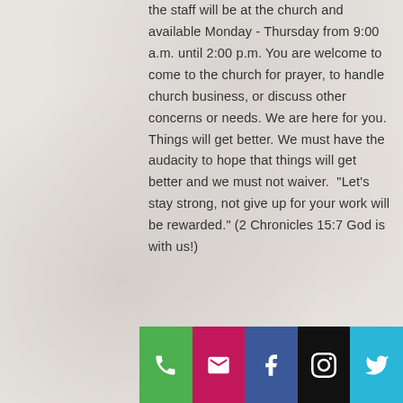the staff will be at the church and available Monday - Thursday from 9:00 a.m. until 2:00 p.m. You are welcome to come to the church for prayer, to handle church business, or discuss other concerns or needs. We are here for you. Things will get better. We must have the audacity to hope that things will get better and we must not waiver. "Let's stay strong, not give up for your work will be rewarded." (2 Chronicles 15:7 God is with us!)
[Figure (other): Footer bar with five social/contact icon buttons: phone (green), email (magenta), Facebook (blue), Instagram (black), Twitter (cyan)]